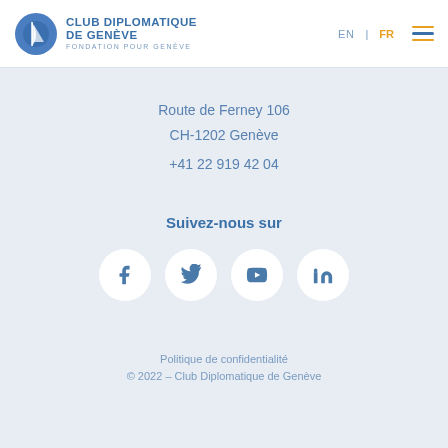Club Diplomatique de Genève – Fondation pour Genève | EN | FR
Route de Ferney 106
CH-1202 Genève
+41 22 919 42 04
Suivez-nous sur
[Figure (infographic): Four social media icons in white circles: Facebook, Twitter, YouTube, LinkedIn]
Politique de confidentialité
© 2022 – Club Diplomatique de Genève